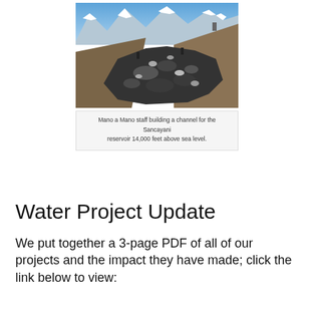[Figure (photo): Aerial/ground-level photograph of a rocky landslide/construction channel being built on a steep mountain slope with snow-capped peaks in the background and brown hillsides. Workers and machinery visible building the Sancayani reservoir channel at high altitude.]
Mano a Mano staff building a channel for the Sancayani reservoir 14,000 feet above sea level.
Water Project Update
We put together a 3-page PDF of all of our projects and the impact they have made; click the link below to view: